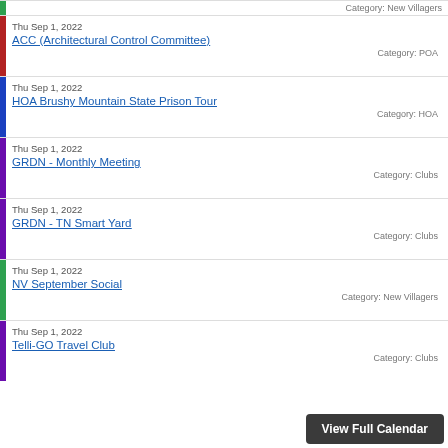Category: New Villagers
Thu Sep 1, 2022 | ACC (Architectural Control Committee) | Category: POA
Thu Sep 1, 2022 | HOA Brushy Mountain State Prison Tour | Category: HOA
Thu Sep 1, 2022 | GRDN - Monthly Meeting | Category: Clubs
Thu Sep 1, 2022 | GRDN - TN Smart Yard | Category: Clubs
Thu Sep 1, 2022 | NV September Social | Category: New Villagers
Thu Sep 1, 2022 | Telli-GO Travel Club | Category: Clubs